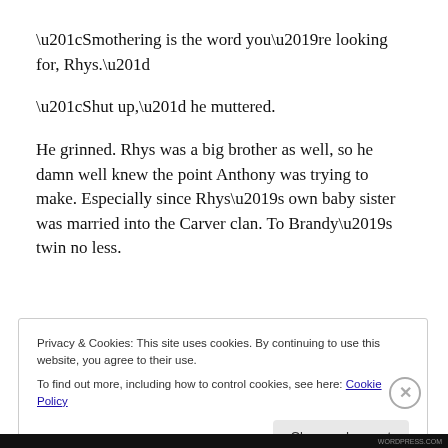“Smothering is the word you’re looking for, Rhys.”
“Shut up,” he muttered.
He grinned. Rhys was a big brother as well, so he damn well knew the point Anthony was trying to make. Especially since Rhys’s own baby sister was married into the Carver clan. To Brandy’s twin no less.
Privacy & Cookies: This site uses cookies. By continuing to use this website, you agree to their use.
To find out more, including how to control cookies, see here: Cookie Policy
Close and accept